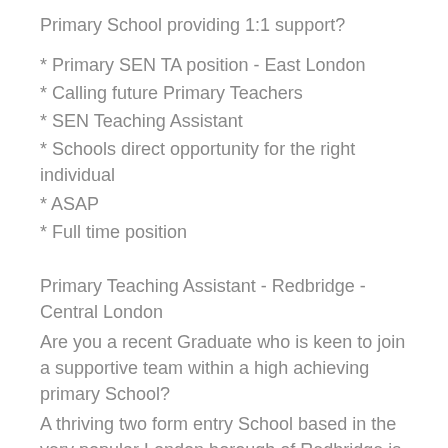Primary School providing 1:1 support?
* Primary SEN TA position - East London
* Calling future Primary Teachers
* SEN Teaching Assistant
* Schools direct opportunity for the right individual
* ASAP
* Full time position
Primary Teaching Assistant - Redbridge - Central London
Are you a recent Graduate who is keen to join a supportive team within a high achieving primary School?
A thriving two form entry School based in the very popular London borough of Redbridge is seeking a Teaching Assistant for an an immediate start